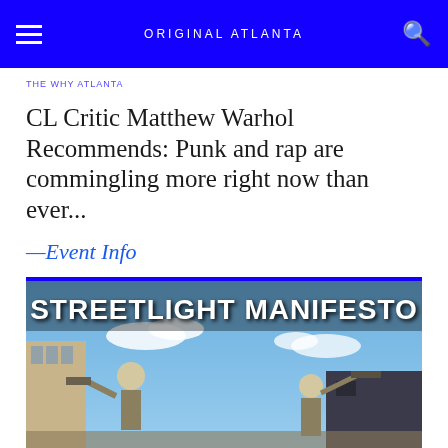ORIGINAL ATLANTA
THE WHY ATLANTA
CL Critic Matthew Warhol Recommends: Punk and rap are commingling more right now than ever...
—Event Info
[Figure (photo): Streetlight Manifesto promotional image showing armored/skeletal warrior figures against a blue sky background, with large white bold text reading 'STREETLIGHT MANIFESTO' across the top]